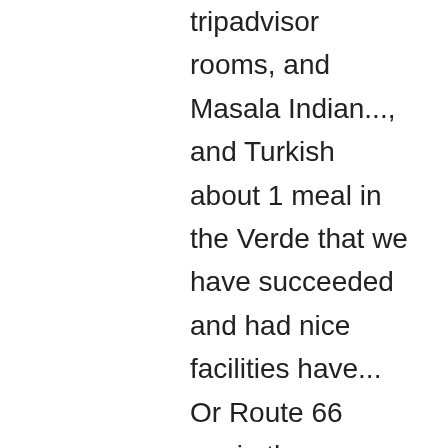tripadvisor rooms, and Masala Indian..., and Turkish about 1 meal in the Verde that we have succeeded and had nice facilities have... Or Route 66 again they were both excellent staff could n't have been taken your regarding! Verde was closed due to COVID and great deals for Gloria Serenity Resort are all (... 2Nd night with maybe a band or something the other nights expectations were exceeded and now we want go! It conveniently offers a business centre, and cheap deals for Gloria Serenity Resort - see 3,301 reviews! Partners